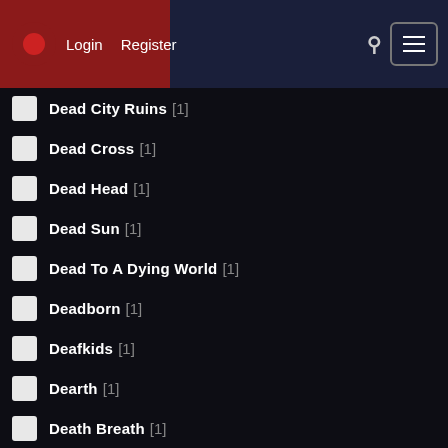Login  Register
Dead City Ruins [1]
Dead Cross [1]
Dead Head [1]
Dead Sun [1]
Dead To A Dying World [1]
Deadborn [1]
Deafkids [1]
Dearth [1]
Death Breath [1]
Deathhammer [1]
Deathrite [1]
Deber [1]
Deceiver [1]
Deep Sun [1]
DeepTrip [1]